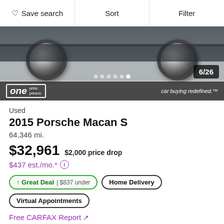Save search | Sort | Filter
[Figure (photo): Bottom portion of a dark Porsche Macan S showing two alloy wheels, photographed from a low angle on a textured surface. Overlay shows 6/26 image counter, dot navigation, ONE price person badge, and 'car buying redefined.' text.]
Used
2015 Porsche Macan S
64,346 mi.
$32,961  $2,000 price drop
$437 est./mo.* ℹ
↑ Great Deal | $837 under   Home Delivery   Virtual Appointments
Free CARFAX Report ↗
Schomp BMW
4.7 ★★★★★ (1,310 reviews)